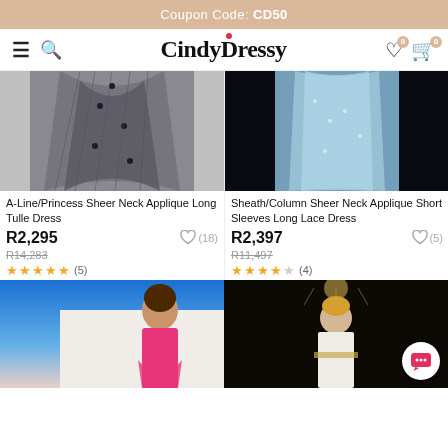Coupon Code: CD50
CindyDressy
[Figure (photo): Dark gray A-line/princess tulle dress with sheer neck and applique details, showing lower half of dress]
A-Line/Princess Sheer Neck Applique Long Tulle Dress
R2,295
R14,283
(18) ★★★★★ (5)
[Figure (photo): Light blue sheath/column lace dress with sheer neck and short sleeves on dark background]
Sheath/Column Sheer Neck Applique Short Sleeves Long Lace Dress
R2,397
R11,497
(5) ★★★★☆ (4)
[Figure (photo): Pink lace dress worn by brunette woman against blue sky background]
[Figure (photo): White embellished dress worn by blonde woman in dark ballroom setting with chandeliers]